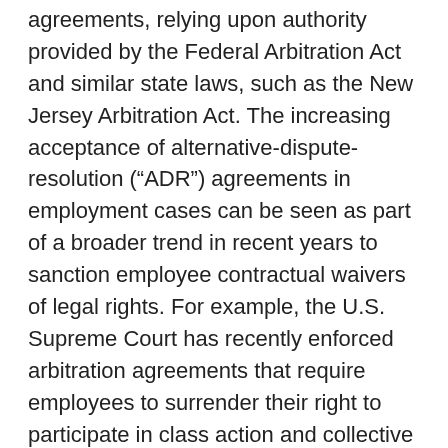agreements, relying upon authority provided by the Federal Arbitration Act and similar state laws, such as the New Jersey Arbitration Act. The increasing acceptance of alternative-dispute-resolution (“ADR”) agreements in employment cases can be seen as part of a broader trend in recent years to sanction employee contractual waivers of legal rights. For example, the U.S. Supreme Court has recently enforced arbitration agreements that require employees to surrender their right to participate in class action and collective action claims against their employers as a condition of employment.
Despite this trend, the Appellate Division in Maiden Re Insurance reminds employers that courts will be vigilant to ensure an employee has knowingly given up